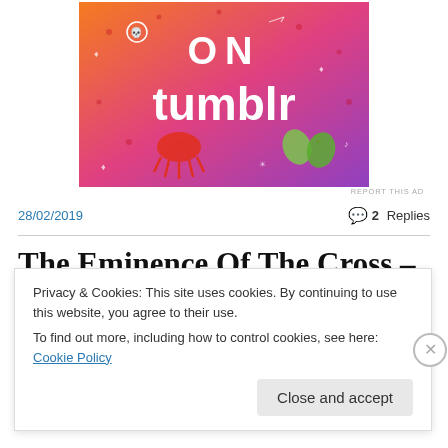[Figure (illustration): Tumblr advertisement banner with colorful orange-to-purple gradient background featuring doodles (skull, music notes, arrows, octopus, leaf characters) and the word 'tumblr' in large white text with 'ON' above it in bold black letters]
REPORT THIS AD
28/02/2019
💬 2 Replies
The Eminence Of The Cross – Part 2
Privacy & Cookies: This site uses cookies. By continuing to use this website, you agree to their use.
To find out more, including how to control cookies, see here: Cookie Policy
Close and accept